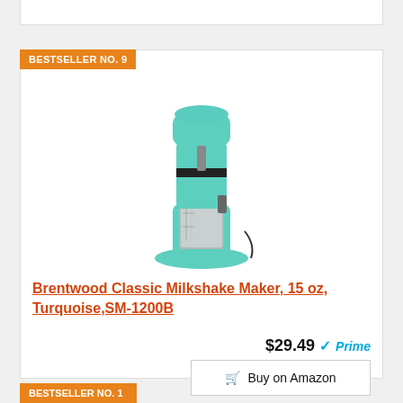BESTSELLER NO. 9
[Figure (photo): Brentwood Classic Milkshake Maker in turquoise color with stainless steel cup attached, retro diner style appliance]
Brentwood Classic Milkshake Maker, 15 oz, Turquoise,SM-1200B
$29.49 Prime
Buy on Amazon
BESTSELLER NO. 1